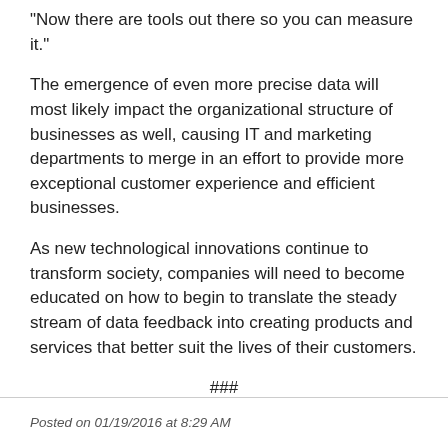"Now there are tools out there so you can measure it."
The emergence of even more precise data will most likely impact the organizational structure of businesses as well, causing IT and marketing departments to merge in an effort to provide more exceptional customer experience and efficient businesses.
As new technological innovations continue to transform society, companies will need to become educated on how to begin to translate the steady stream of data feedback into creating products and services that better suit the lives of their customers.
###
Posted on 01/19/2016 at 8:29 AM